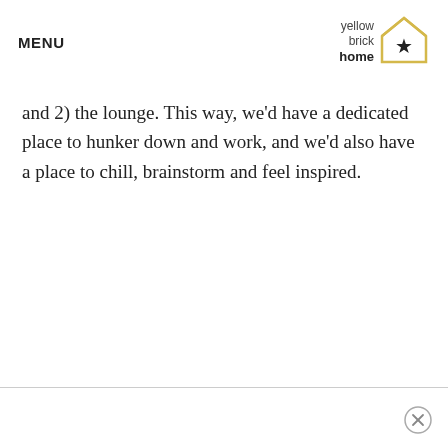MENU
[Figure (logo): Yellow Brick Home logo with house outline and star icon]
and 2) the lounge. This way, we'd have a dedicated place to hunker down and work, and we'd also have a place to chill, brainstorm and feel inspired.